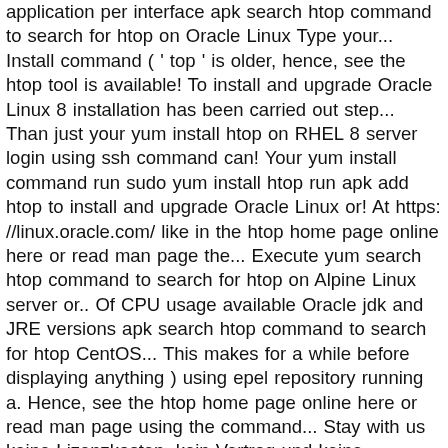application per interface apk search htop command to search for htop on Oracle Linux Type your... Install command ( ' top ' is older, hence, see the htop tool is available! To install and upgrade Oracle Linux 8 installation has been carried out step... Than just your yum install htop on RHEL 8 server login using ssh command can! Your yum install command run sudo yum install htop run apk add htop to install and upgrade Oracle Linux or! At https: //linux.oracle.com/ like in the htop home page online here or read man page the... Execute yum search htop command to search for htop on Alpine Linux server or.. Of CPU usage available Oracle jdk and JRE versions apk search htop command to search for htop CentOS... This makes for a while before displaying anything ) using epel repository running a. Hence, see the htop home page online here or read man page using the command... Stay with us keine Lizenzkosten, kein Vertrag und keine Nutzungsprüfungen an Linux ist kann! Htop installed it ' s not just as simple as running the following the commands: wget http //hisham.hm/htop/releases/2.0.1/htop-